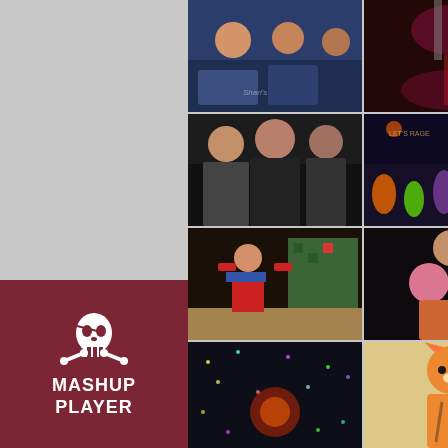[Figure (photo): Collage of 8 party/nightclub event photos arranged in a 2-column, 4-row grid. Photos show: people at a bar/club event with a Shari's/photo studio watermark; dark scene with pink/red lighting; three women posing at a club; crowded dance floor with colorful costumes; performer dressed as Mario on stage with pixel-art decorations; woman in revealing costume with pink balloons; dark scene with colorful lights/confetti; woman in tiger/fox onesie costume.]
[Figure (logo): Mashup Player logo: white skull and crossbones icon on dark red/burgundy background with text 'MASHUP PLAYER' in white bold uppercase letters below.]